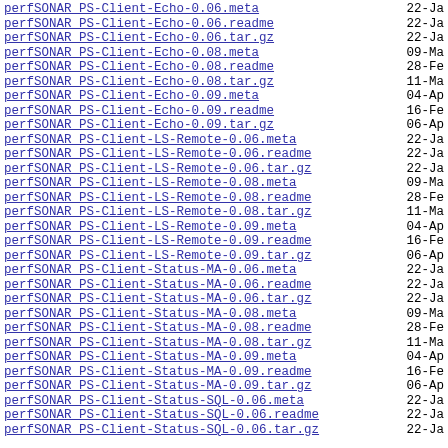perfSONAR PS-Client-Echo-0.06.meta   22-Ja
perfSONAR PS-Client-Echo-0.06.readme   22-Ja
perfSONAR PS-Client-Echo-0.06.tar.gz   22-Ja
perfSONAR PS-Client-Echo-0.08.meta   09-Ma
perfSONAR PS-Client-Echo-0.08.readme   28-Fe
perfSONAR PS-Client-Echo-0.08.tar.gz   11-Ma
perfSONAR PS-Client-Echo-0.09.meta   04-Ap
perfSONAR PS-Client-Echo-0.09.readme   16-Fe
perfSONAR PS-Client-Echo-0.09.tar.gz   06-Ap
perfSONAR PS-Client-LS-Remote-0.06.meta   22-Ja
perfSONAR PS-Client-LS-Remote-0.06.readme   22-Ja
perfSONAR PS-Client-LS-Remote-0.06.tar.gz   22-Ja
perfSONAR PS-Client-LS-Remote-0.08.meta   09-Ma
perfSONAR PS-Client-LS-Remote-0.08.readme   28-Fe
perfSONAR PS-Client-LS-Remote-0.08.tar.gz   11-Ma
perfSONAR PS-Client-LS-Remote-0.09.meta   04-Ap
perfSONAR PS-Client-LS-Remote-0.09.readme   16-Fe
perfSONAR PS-Client-LS-Remote-0.09.tar.gz   06-Ap
perfSONAR PS-Client-Status-MA-0.06.meta   22-Ja
perfSONAR PS-Client-Status-MA-0.06.readme   22-Ja
perfSONAR PS-Client-Status-MA-0.06.tar.gz   22-Ja
perfSONAR PS-Client-Status-MA-0.08.meta   09-Ma
perfSONAR PS-Client-Status-MA-0.08.readme   28-Fe
perfSONAR PS-Client-Status-MA-0.08.tar.gz   11-Ma
perfSONAR PS-Client-Status-MA-0.09.meta   04-Ap
perfSONAR PS-Client-Status-MA-0.09.readme   16-Fe
perfSONAR PS-Client-Status-MA-0.09.tar.gz   06-Ap
perfSONAR PS-Client-Status-SQL-0.06.meta   22-Ja
perfSONAR PS-Client-Status-SQL-0.06.readme   22-Ja
perfSONAR PS-Client-Status-SQL-0.06.tar.gz   22-Ja